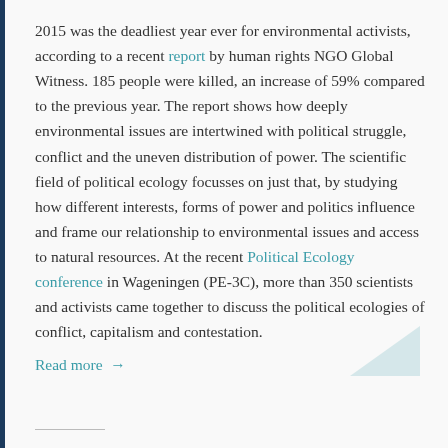2015 was the deadliest year ever for environmental activists, according to a recent report by human rights NGO Global Witness. 185 people were killed, an increase of 59% compared to the previous year. The report shows how deeply environmental issues are intertwined with political struggle, conflict and the uneven distribution of power. The scientific field of political ecology focusses on just that, by studying how different interests, forms of power and politics influence and frame our relationship to environmental issues and access to natural resources. At the recent Political Ecology conference in Wageningen (PE-3C), more than 350 scientists and activists came together to discuss the political ecologies of conflict, capitalism and contestation. Read more →